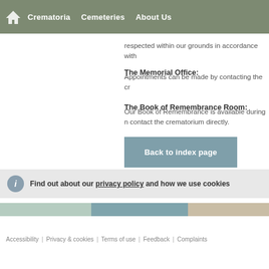Crematoria | Cemeteries | About Us
respected within our grounds in accordance with
The Memorial Office:
Appointments can be made by contacting the cr
The Book of Remembrance Room:
Our Book of Remembrance is available during n contact the crematorium directly.
Back to index page
Find out about our privacy policy and how we use cookies
Accessibility | Privacy & cookies | Terms of use | Feedback | Complaints